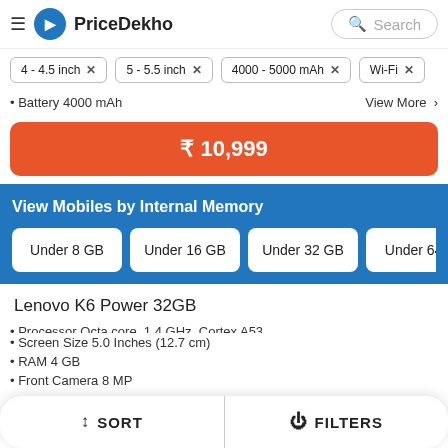PriceDekho
4 - 4.5 inch ×
5 - 5.5 inch ×
4000 - 5000 mAh ×
Wi-Fi ×
• Battery 4000 mAh
View More ›
₹ 10,999
View Mobiles by Internal Memory
Under 8 GB
Under 16 GB
Under 32 GB
Under 64 G
Lenovo K6 Power 32GB
• Processor Octa core, 1.4 GHz, Cortex A53
• Screen Size 5.0 Inches (12.7 cm)
• RAM 4 GB
• Front Camera 8 MP